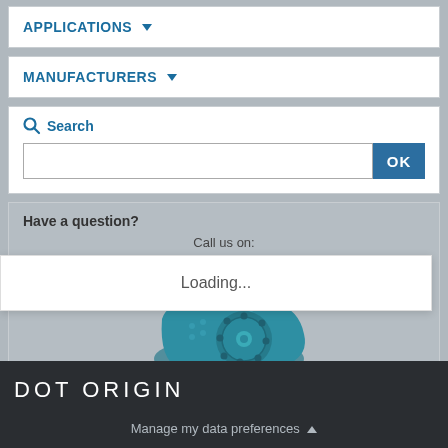APPLICATIONS
MANUFACTURERS
Search
Have a question?
Call us on:
Loading...
[Figure (illustration): Teal/blue retro telephone icon illustration]
DOT ORIGIN
Manage my data preferences ▲